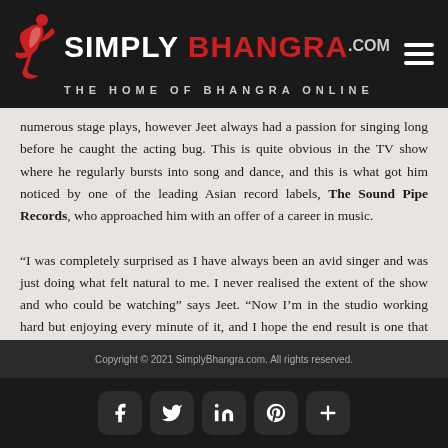SIMPLY BHANGRA .COM — THE HOME OF BHANGRA ONLINE
numerous stage plays, however Jeet always had a passion for singing long before he caught the acting bug. This is quite obvious in the TV show where he regularly bursts into song and dance, and this is what got him noticed by one of the leading Asian record labels, The Sound Pipe Records, who approached him with an offer of a career in music.

“I was completely surprised as I have always been an avid singer and was just doing what felt natural to me. I never realised the extent of the show and who could be watching” says Jeet. “Now I’m in the studio working hard but enjoying every minute of it, and I hope the end result is one that can be enjoyed by everyone”.
Copyright © 2021 SimplyBhangra.com. All rights reserved.
[Figure (other): Social media icon buttons: Facebook, Twitter, LinkedIn, Pinterest, and a plus/more button]